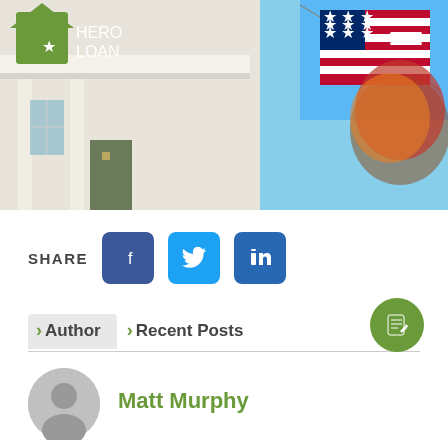[Figure (photo): Hero image showing a white house porch with an American flag hanging from it, autumn trees in background. Hero Loan logo (green house icon with star, white text 'HERO LOAN') in top left. Hamburger menu icon in top right.]
SHARE
[Figure (infographic): Social share buttons: Facebook (dark blue), Twitter (light blue), LinkedIn (dark blue)]
Author  Recent Posts
Matt Murphy